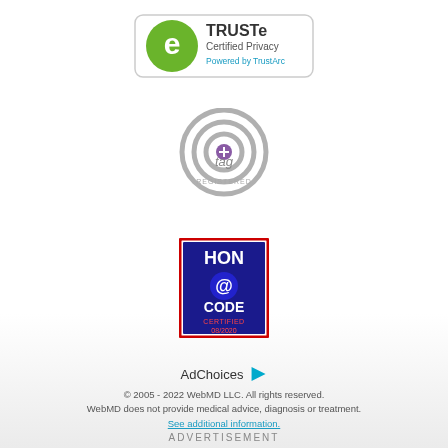[Figure (logo): TRUSTe Certified Privacy Powered by TrustArc badge — green circle with 'e' icon on left, text 'TRUSTe Certified Privacy Powered by TrustArc' on right, white background with rounded border]
[Figure (logo): TAG Registered badge — circular concentric rings logo in grey with purple center dot, 'tag' text in grey, 'REGISTERED' text below]
[Figure (logo): HON Code Certified badge — red bordered box with blue background, 'HON @CODE' text, 'CERTIFIED 08/2020' text in red]
AdChoices
© 2005 - 2022 WebMD LLC. All rights reserved.
WebMD does not provide medical advice, diagnosis or treatment.
See additional information.
ADVERTISEMENT